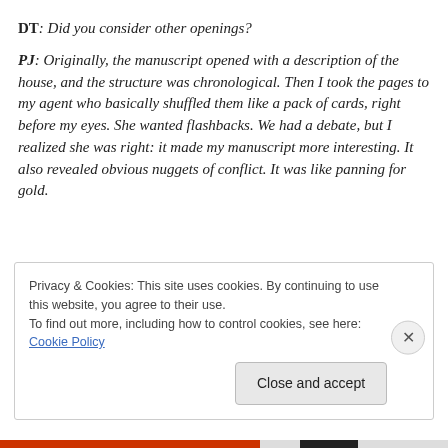DT: Did you consider other openings?
PJ: Originally, the manuscript opened with a description of the house, and the structure was chronological. Then I took the pages to my agent who basically shuffled them like a pack of cards, right before my eyes. She wanted flashbacks. We had a debate, but I realized she was right: it made my manuscript more interesting. It also revealed obvious nuggets of conflict. It was like panning for gold.
Privacy & Cookies: This site uses cookies. By continuing to use this website, you agree to their use.
To find out more, including how to control cookies, see here: Cookie Policy
Close and accept